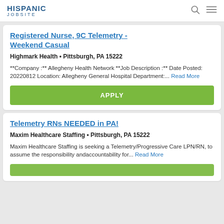HISPANIC JOBSITE
Registered Nurse, 9C Telemetry - Weekend Casual
Highmark Health • Pittsburgh, PA 15222
**Company :** Allegheny Health Network **Job Description :** Date Posted: 20220812 Location: Allegheny General Hospital Department:... Read More
APPLY
Telemetry RNs NEEDED in PA!
Maxim Healthcare Staffing • Pittsburgh, PA 15222
Maxim Healthcare Staffing is seeking a Telemetry/Progressive Care LPN/RN, to assume the responsibility andaccountability for... Read More